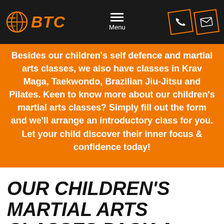BTC — Navigation bar with logo, menu, phone and email icons
Besides our children's self defence and martial arts classes, we also have classes in Krav Maga, Taekwondo, Brazilian Jiu-Jitsu and Pilates. Keen to know more about our children's martial arts classes? Simply fill out the form and we'll arrange an introductory class for you. Let your child discover their inner focus & confidence today!
OUR CHILDREN'S MARTIAL ARTS CLASSES PACK A PUNCH!